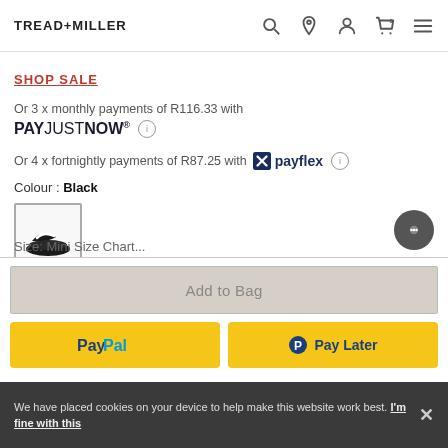TREAD+MILLER
SHOP SALE
Or 3 x monthly payments of R116.33 with
PAYJUSTNOW®
Or 4 x fortnightly payments of R87.25 with payflex
Colour : Black
[Figure (photo): Black slide sandal swatch thumbnail]
Add to Bag
PayPal  Pay Later
We have placed cookies on your device to help make this website work best. I'm fine with this